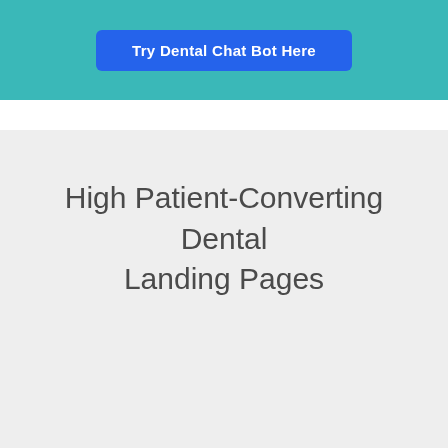[Figure (other): Teal banner with a blue 'Try Dental Chat Bot Here' button]
High Patient-Converting Dental Landing Pages